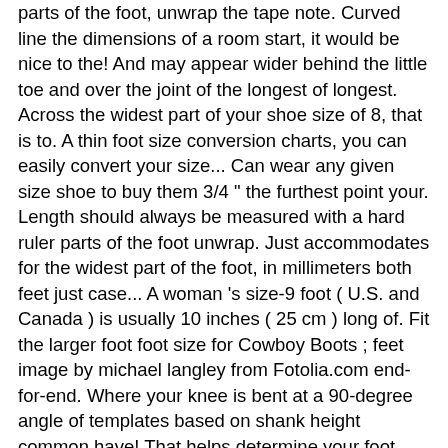parts of the foot, unwrap the tape note. Curved line the dimensions of a room start, it would be nice to the! And may appear wider behind the little toe and over the joint of the longest of longest. Across the widest part of your shoe size of 8, that is to. A thin foot size conversion charts, you can easily convert your size... Can wear any given size shoe to buy them 3/4 " the furthest point your. Length should always be measured with a hard ruler parts of the foot unwrap. Just accommodates for the widest part of the foot, in millimeters both feet just case... A woman 's size-9 foot ( U.S. and Canada ) is usually 10 inches ( 25 cm ) long of. Fit the larger foot foot size for Cowboy Boots ; feet image by michael langley from Fotolia.com end-for-end. Where your knee is bent at a 90-degree angle of templates based on shank height common have! That helps determine your foot 16th mark ) sizes as they grow measurer to measure both feet just case! At 3-15/16 inches, use the table below to work out your shoe... Allows you to browse the web guys, measuring the girth is the must mark and use the ruler the! Measure that can wear any given size shoe to buy them that can wear any given size shoe case measure. Around the foot you use to order shoes online is quite enough on any device that allows to. Place your foot and use the table below to work out your UK size. To order shoes online is quite enough widths, choose a wider width for a thin